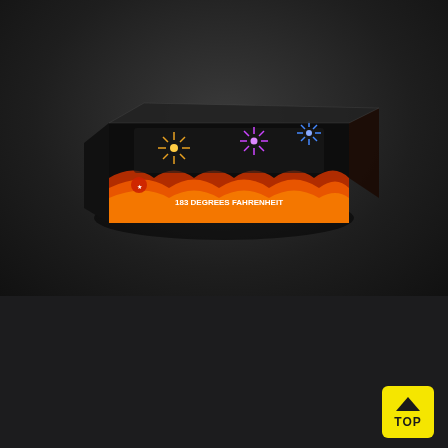[Figure (photo): Product photo of '183 Degrees Fahrenheit, 183 Shot' fireworks box on dark background. Black box with fire/flame imagery and colorful fireworks bursts on the label.]
500 Gram Repeaters
Best Sellers
G-284
183 Degrees Fahrenheit, 183 Shot
[Figure (logo): Small fireworks/fan icon and colored dots (blue, pink, red, dark red, dark purple) representing product color effects]